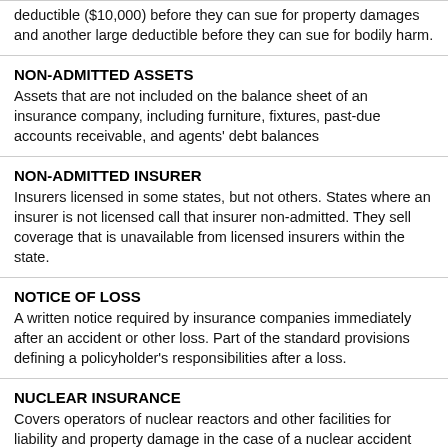deductible ($10,000) before they can sue for property damages and another large deductible before they can sue for bodily harm.
NON-ADMITTED ASSETS
Assets that are not included on the balance sheet of an insurance company, including furniture, fixtures, past-due accounts receivable, and agents' debt balances
NON-ADMITTED INSURER
Insurers licensed in some states, but not others. States where an insurer is not licensed call that insurer non-admitted. They sell coverage that is unavailable from licensed insurers within the state.
NOTICE OF LOSS
A written notice required by insurance companies immediately after an accident or other loss. Part of the standard provisions defining a policyholder's responsibilities after a loss.
NUCLEAR INSURANCE
Covers operators of nuclear reactors and other facilities for liability and property damage in the case of a nuclear accident and involves both private insurers and the federal government.
NURSING HOME INSURANCE
A form of long-term care policy that covers a policyholder's stay in a nursing facility.